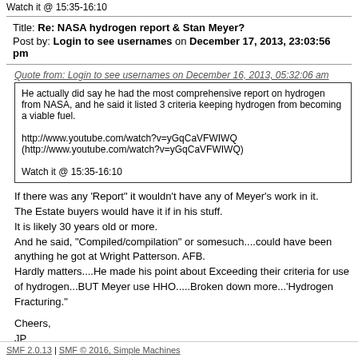Watch it @ 15:35-16:10
Title: Re: NASA hydrogen report & Stan Meyer?
Post by: Login to see usernames on December 17, 2013, 23:03:56 pm
Quote from: Login to see usernames on December 16, 2013, 05:32:06 am
He actually did say he had the most comprehensive report on hydrogen from NASA, and he said it listed 3 criteria keeping hydrogen from becoming a viable fuel.

http://www.youtube.com/watch?v=yGqCaVFWIWQ
(http://www.youtube.com/watch?v=yGqCaVFWIWQ)

Watch it @ 15:35-16:10
If there was any 'Report" it wouldn't have any of Meyer's work in it.
The Estate buyers would have it if in his stuff.
It is likely 30 years old or more.
And he said, "Compiled/compilation" or somesuch....could have been anything he got at Wright Patterson. AFB.
Hardly matters....He made his point about Exceeding their criteria for use of hydrogen...BUT Meyer use HHO.....Broken down more...'Hydrogen Fracturing."
Cheers,
JP
SMF 2.0.13 | SMF © 2016, Simple Machines